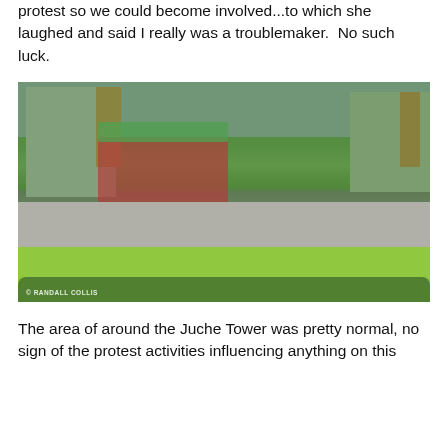protest so we could become involved...to which she laughed and said I really was a troublemaker.  No such luck.
[Figure (photo): Street scene in North Korea near Juche Tower area showing people riding bicycles along a road, a playground with colorful equipment, trees, residential apartment buildings, and a green lawn in the foreground. Watermark reads '© RANDALL COLLIS'.]
The area of around the Juche Tower was pretty normal, no sign of the protest activities influencing anything on this